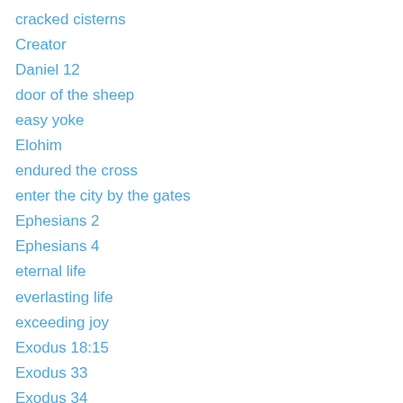cracked cisterns
Creator
Daniel 12
door of the sheep
easy yoke
Elohim
endured the cross
enter the city by the gates
Ephesians 2
Ephesians 4
eternal life
everlasting life
exceeding joy
Exodus 18:15
Exodus 33
Exodus 34
faith
faith is the victory
faith that prevails
Father's house